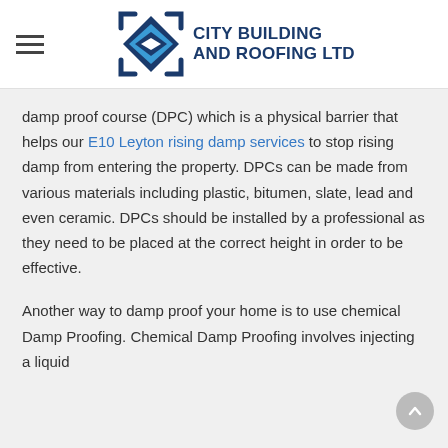City Building and Roofing Ltd
damp proof course (DPC) which is a physical barrier that helps our E10 Leyton rising damp services to stop rising damp from entering the property. DPCs can be made from various materials including plastic, bitumen, slate, lead and even ceramic. DPCs should be installed by a professional as they need to be placed at the correct height in order to be effective.
Another way to damp proof your home is to use chemical Damp Proofing. Chemical Damp Proofing involves injecting a liquid